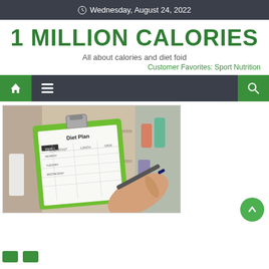Wednesday, August 24, 2022
1 MILLION CALORIES
All about calories and diet foid
Customer Favorites: Sport Nutrition
[Figure (screenshot): Website navigation bar with home icon, hamburger menu, and search icon on dark background]
[Figure (photo): A person writing on a Diet Plan clipboard form with a pen, kitchen shelves blurred in background]
[Figure (other): Scroll-to-top circular green button with upward arrow]